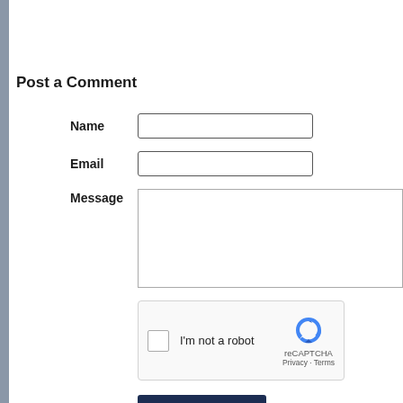Post a Comment
Name
Email
Message
[Figure (other): reCAPTCHA widget with checkbox labeled 'I'm not a robot' and reCAPTCHA logo with Privacy and Terms links]
Post Comment
1 Comment